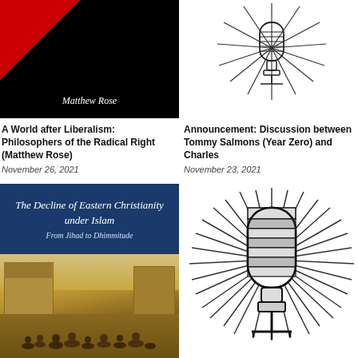[Figure (illustration): Book cover: black background with red triangle shape, author name Matthew Rose in italic white]
[Figure (illustration): Small vintage microphone with radiating lines, podcast icon]
A World after Liberalism: Philosophers of the Radical Right (Matthew Rose)
November 26, 2021
Announcement: Discussion between Tommy Salmons (Year Zero) and Charles
November 23, 2021
[Figure (illustration): Book cover: The Decline of Eastern Christianity under Islam From Jihad to Dhimmitude, blue header with white text, lower half shows a painting of people in a Middle Eastern scene]
[Figure (illustration): Large vintage microphone with radiating lines, podcast icon]